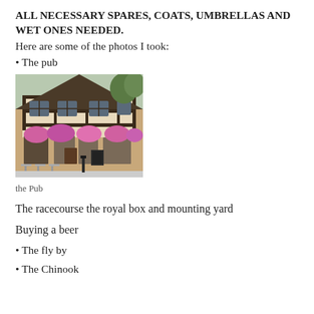ALL NECESSARY SPARES, COATS, UMBRELLAS AND WET ONES NEEDED.
Here are some of the photos I took:
• The pub
[Figure (photo): A traditional English Tudor-style pub with hanging flower baskets, outdoor seating, dark timber beams and a steep roof.]
the Pub
The racecourse the royal box and mounting yard
Buying a beer
• The fly by
• The Chinook